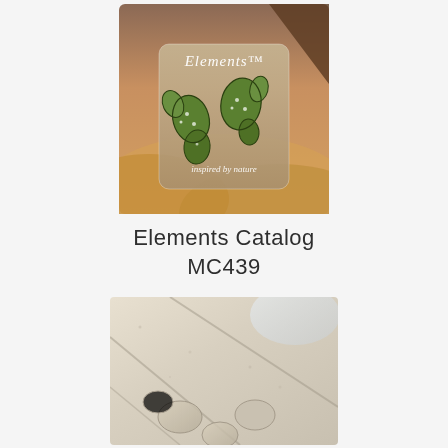[Figure (photo): Elements catalog cover image showing painted cactus tiles on sandy desert background with text 'Elements' at top and 'inspired by nature' at bottom]
Elements Catalog
MC439
[Figure (photo): Close-up photo of glossy ceramic or glass tiles with pearlescent cream/beige color and rounded pebble shapes]